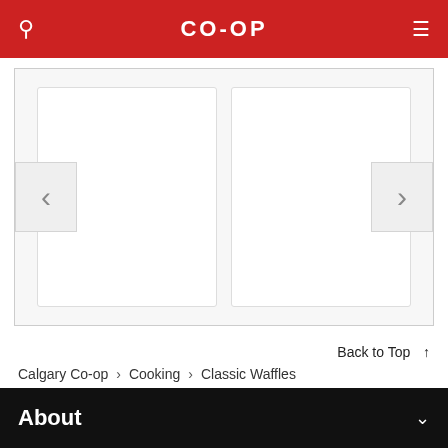CO-OP
[Figure (screenshot): Carousel with two blank white card placeholders, left arrow button and right arrow button for navigation]
Back to Top ↑
Calgary Co-op > Cooking > Classic Waffles
About